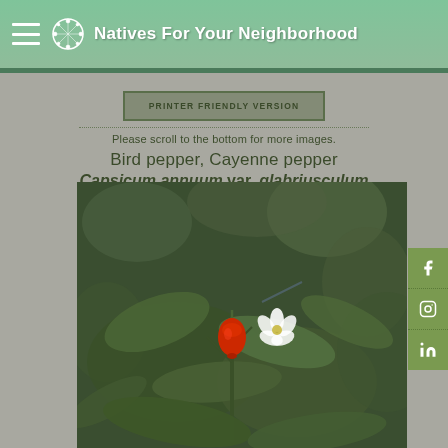Natives For Your Neighborhood
PRINTER FRIENDLY VERSION
Please scroll to the bottom for more images.
Bird pepper, Cayenne pepper
Capsicum annuum var. glabriusculum
Solanaceae
[Figure (photo): Close-up photograph of Capsicum annuum var. glabriusculum (bird pepper / cayenne pepper) plant showing a small red pepper fruit and white flower against a dark green leafy background.]